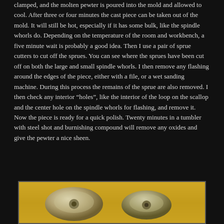clamped, and the molten pewter is poured into the mold and allowed to cool. After three or four minutes the cast piece can be taken out of the mold. It will still be hot, especially if it has some bulk, like the spindle whorls do. Depending on the temperature of the room and workbench, a five minute wait is probably a good idea. Then I use a pair of sprue cutters to cut off the sprues. You can see where the sprues have been cut off on both the large and small spindle whorls. I then remove any flashing around the edges of the piece, either with a file, or a wet sanding machine. During this process the remains of the sprue are also removed. I then check any interior “holes”, like the interior of the loop on the scallop and the center hole on the spindle whorls for flashing, and remove it. Now the piece is ready for a quick polish. Twenty minutes in a tumbler with steel shot and burnishing compound will remove any oxides and give the pewter a nice sheen.
[Figure (photo): Photograph of cast pewter spindle whorls on a golden/wood background, showing the finished pieces after polishing.]